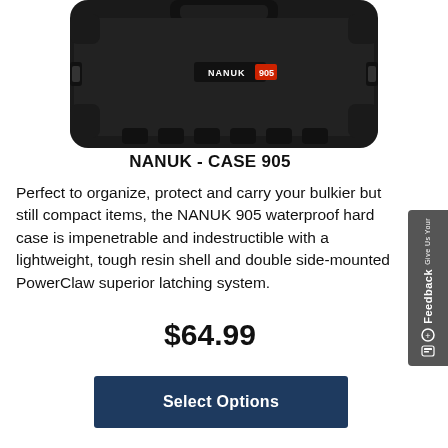[Figure (photo): NANUK 905 hard case, black, photographed from above showing the top of the case with logo and latching system]
NANUK - CASE 905
Perfect to organize, protect and carry your bulkier but still compact items, the NANUK 905 waterproof hard case is impenetrable and indestructible with a lightweight, tough resin shell and double side-mounted PowerClaw superior latching system.
$64.99
Select Options